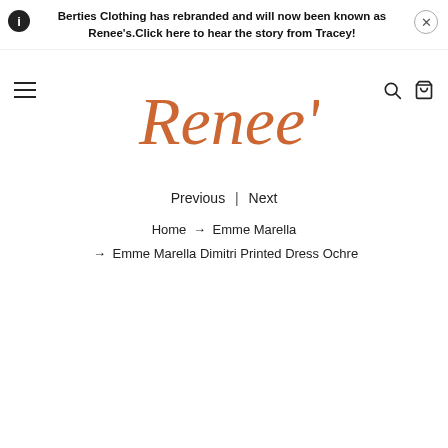Berties Clothing has rebranded and will now been known as Renee's.Click here to hear the story from Tracey!
[Figure (logo): Renee's cursive logo in orange/terracotta color]
Previous | Next
Home → Emme Marella → Emme Marella Dimitri Printed Dress Ochre